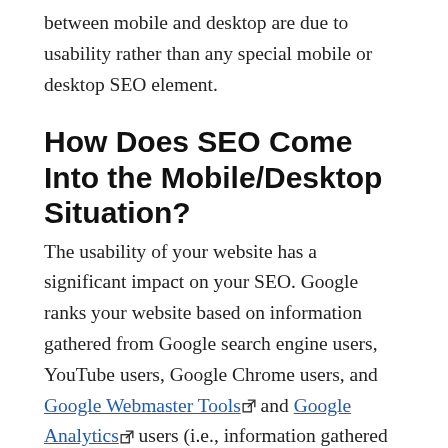between mobile and desktop are due to usability rather than any special mobile or desktop SEO element.
How Does SEO Come Into the Mobile/Desktop Situation?
The usability of your website has a significant impact on your SEO. Google ranks your website based on information gathered from Google search engine users, YouTube users, Google Chrome users, and Google Webmaster Tools and Google Analytics users (i.e., information gathered from other people's websites). Google is analysing massive data to figure